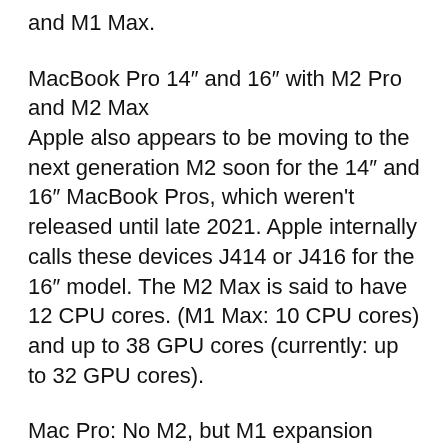and M1 Max.
MacBook Pro 14″ and 16″ with M2 Pro and M2 Max
Apple also appears to be moving to the next generation M2 soon for the 14″ and 16″ MacBook Pros, which weren't released until late 2021. Apple internally calls these devices J414 or J416 for the 16″ model. The M2 Max is said to have 12 CPU cores. (M1 Max: 10 CPU cores) and up to 38 GPU cores (currently: up to 32 GPU cores).
Mac Pro: No M2, but M1 expansion stage
As already suspected in the rumour, Apple's Mac Pro will not use the M2, but an extension stage of the M1. Apple calls the successor to Intel's latest Mac internally the J180 – and